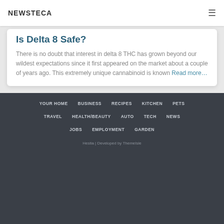NEWSTECA
Is Delta 8 Safe?
There is no doubt that interest in delta 8 THC has grown beyond our wildest expectations since it first appeared on the market about a couple of years ago. This extremely unique cannabinoid is known Read more…
YOUR HOME
BUSINESS
RECIPES
KITCHEN
PETS
TRAVEL
HEALTH/BEAUTY
AUTO
TECH
NEWS
JOBS
EMPLOYMENT
GARDEN
Hestia | Developed by ThemeIsle